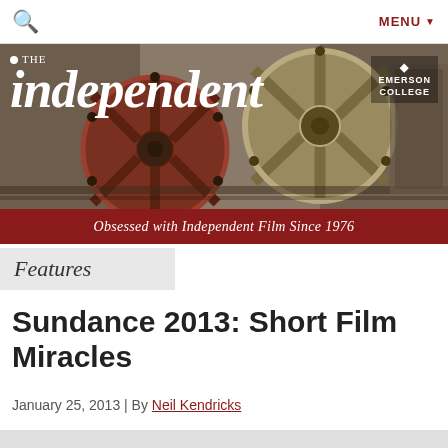🔍  MENU ▼
[Figure (illustration): The Independent magazine header banner with film reels photo background, red masthead with 'THE independent' logo in white italic serif font, Emerson College badge top right, tagline 'Obsessed with Independent Film Since 1976' in white italic text on red background]
Features
Sundance 2013: Short Film Miracles
January 25, 2013 | By Neil Kendricks